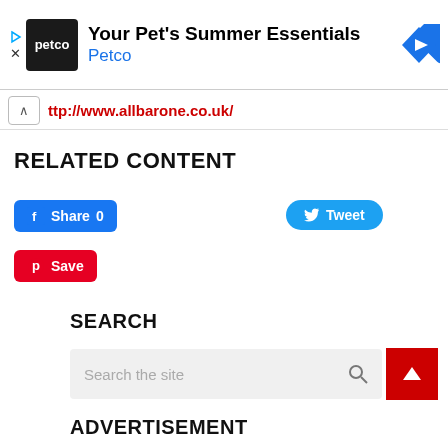[Figure (screenshot): Petco advertisement banner with logo, title 'Your Pet's Summer Essentials', brand name 'Petco', and a blue diamond navigation arrow icon]
ttp://www.allbarone.co.uk/
RELATED CONTENT
[Figure (screenshot): Social share buttons: Facebook Share 0 button, Twitter Tweet button, and Pinterest Save button]
SEARCH
[Figure (screenshot): Search input box with placeholder text 'Search the site' and a search magnifier icon]
ADVERTISEMENT